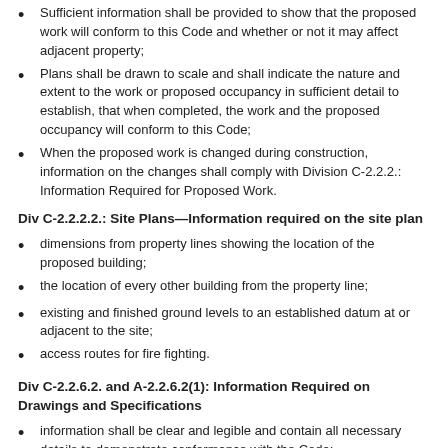Sufficient information shall be provided to show that the proposed work will conform to this Code and whether or not it may affect adjacent property;
Plans shall be drawn to scale and shall indicate the nature and extent to the work or proposed occupancy in sufficient detail to establish, that when completed, the work and the proposed occupancy will conform to this Code;
When the proposed work is changed during construction, information on the changes shall comply with Division C-2.2.2.: Information Required for Proposed Work.
Div C-2.2.2.2.: Site Plans—Information required on the site plan
dimensions from property lines showing the location of the proposed building;
the location of every other building from the property line;
existing and finished ground levels to an established datum at or adjacent to the site;
access routes for fire fighting.
Div C-2.2.6.2. and A-2.2.6.2(1): Information Required on Drawings and Specifications
information shall be clear and legible and contain all necessary details to demonstrate conformance with the Code;
examples of information that should be shown are: